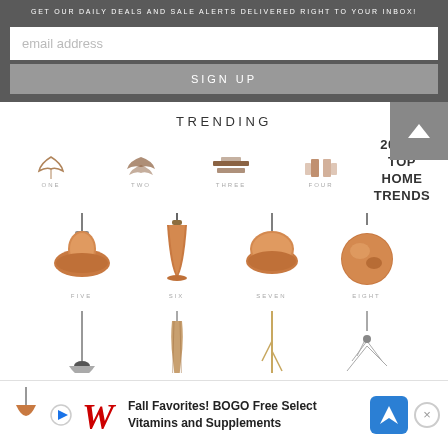GET OUR DAILY DEALS AND SALE ALERTS DELIVERED RIGHT TO YOUR INBOX!
email address
SIGN UP
TRENDING
[Figure (infographic): Four numbered pendant lamp icons labeled ONE, TWO, THREE, FOUR with decorative icons above each number]
2017'S TOP HOME TRENDS
[Figure (photo): Four copper/rose-gold pendant lamps labeled FIVE, SIX, SEVEN, EIGHT]
[Figure (photo): Partial row of lamps labeled NINE and others, partially cut off at bottom]
[Figure (infographic): Advertisement banner: Fall Favorites! BOGO Free Select Vitamins and Supplements with Walgreens logo, play button, direction icon, and close button]